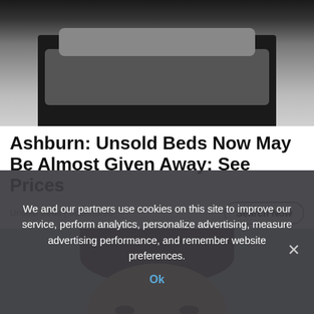[Figure (photo): Photo of a dark-framed bed with grey mattress and pillows, shot from foot of bed looking toward headboard, in a light grey room]
Ashburn: Unsold Beds Now May Be Almost Given Away: See Prices
Unsold Beds | Sponsored
[Figure (photo): Close-up photo of a man's face (forehead and eyes visible), dark short hair, light skin, against a grey background]
We and our partners use cookies on this site to improve our service, perform analytics, personalize advertising, measure advertising performance, and remember website preferences.
Ok